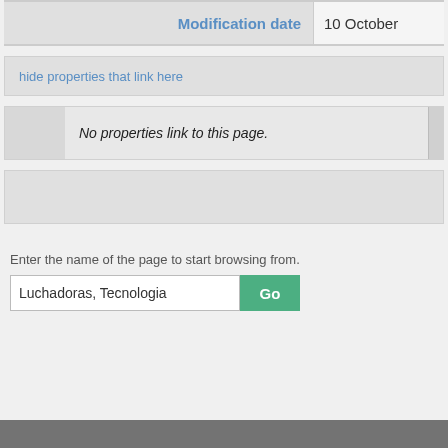| Modification date | 10 October |
| --- | --- |
hide properties that link here
No properties link to this page.
Enter the name of the page to start browsing from.
Luchadoras, Tecnologia  Go